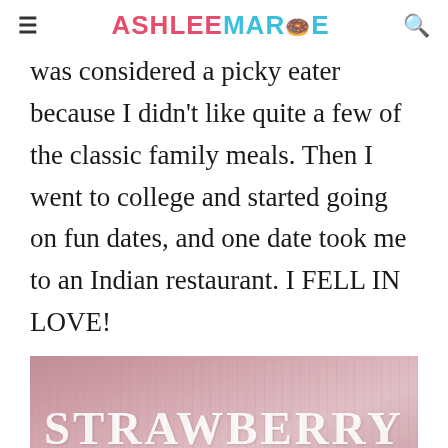ASHLEE MARIE
was considered a picky eater because I didn't like quite a few of the classic family meals.  Then I went to college and started going on fun dates, and one date took me to an Indian restaurant.  I FELL IN LOVE!
[Figure (photo): Photo of a pink strawberry lassi drink in a glass bowl/cup with overlaid text reading STRAWBERRY LASSI in large white capital letters]